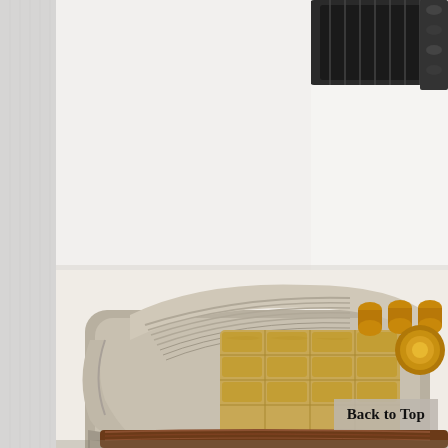[Figure (photo): Close-up photograph of what appears to be a vintage or decorative mechanical device — possibly a guitar tailpiece, music box, or ornate instrument component. The object features polished chrome/silver metallic housing with ridged and engraved details, gold/brass colored inlay panels in a honeycomb or grid pattern, and bronze/gold colored cylindrical fasteners or pegs. The lower portion shows a dark wood base. In the upper right corner, a dark black device (possibly a case or clamp mechanism) is partially visible. The left side of the page has a light gray textured strip/border. The overall background is white/off-white.]
Back to Top